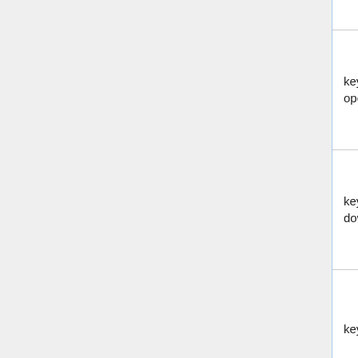| Filename | Image | Filename @2x |
| --- | --- | --- |
| key-operator.png | [teal rounded key image] | key-operator@4... |
| key-operator-down.png | [dark teal rounded key image] |  |
| key-down.png | [grey rounded key image] |  |
| key-command.png | [orange rounded key image] | key-command@... |
| key-command-down.png | [dark orange rounded key image] |  |
| calc-bg.png | [light blue-grey rectangle image] |  |